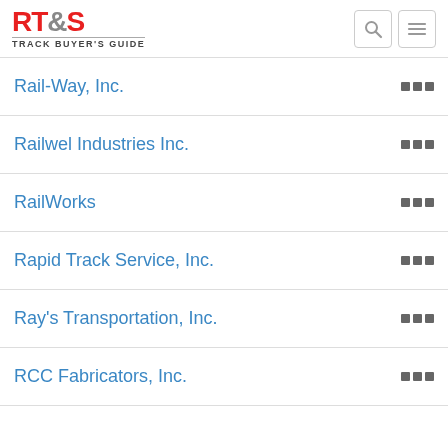RT&S Track Buyer's Guide
Rail-Way, Inc.
Railwel Industries Inc.
RailWorks
Rapid Track Service, Inc.
Ray's Transportation, Inc.
RCC Fabricators, Inc.